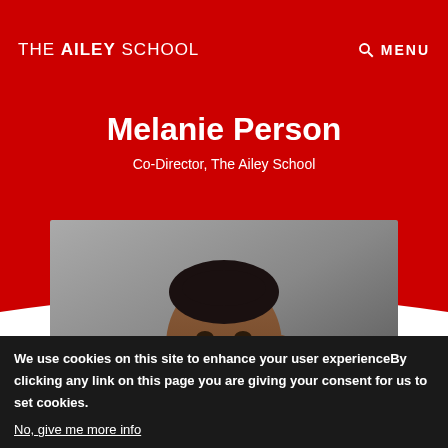THE AILEY SCHOOL
Melanie Person
Co-Director, The Ailey School
[Figure (photo): Professional headshot of Melanie Person, smiling, wearing dark clothing, against a grey background]
We use cookies on this site to enhance your user experienceBy clicking any link on this page you are giving your consent for us to set cookies.
No, give me more info